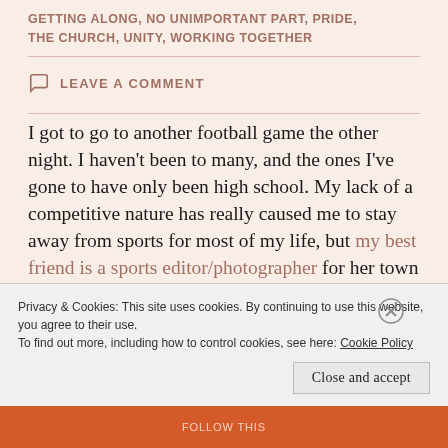GETTING ALONG, NO UNIMPORTANT PART, PRIDE, THE CHURCH, UNITY, WORKING TOGETHER
LEAVE A COMMENT
I got to go to another football game the other night. I haven't been to many, and the ones I've gone to have only been high school. My lack of a competitive nature has really caused me to stay away from sports for most of my life, but my best friend is a sports editor/photographer for her town paper, and she had a game close to my house the other night. So
Privacy & Cookies: This site uses cookies. By continuing to use this website, you agree to their use.
To find out more, including how to control cookies, see here: Cookie Policy
Close and accept